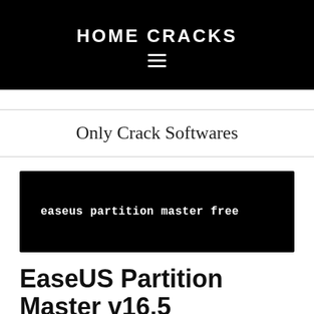HOME CRACKS
Only Crack Softwares
[Figure (photo): Black banner image with white bold serif text reading 'easeus partition master free']
EaseUS Partition Master v16.5